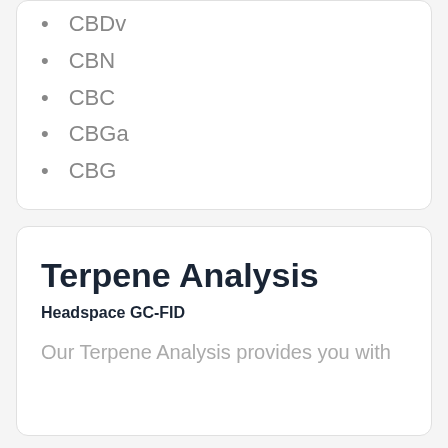CBDv
CBN
CBC
CBGa
CBG
Terpene Analysis
Headspace GC-FID
Our Terpene Analysis provides you with